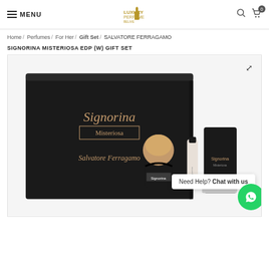MENU | Luxury Perfume | Search | Cart (0)
Home / Perfumes / For Her / Gift Set / SALVATORE FERRAGAMO SIGNORINA MISTERIOSA EDP (W) GIFT SET
[Figure (photo): Salvatore Ferragamo Signorina Misteriosa EDP Gift Set product photo showing a large black gift box with gold Signorina Misteriosa branding, accompanied by a perfume bottle, rollerball, and body lotion. A chat popup 'Need Help? Chat with us' and WhatsApp button are overlaid on the image.]